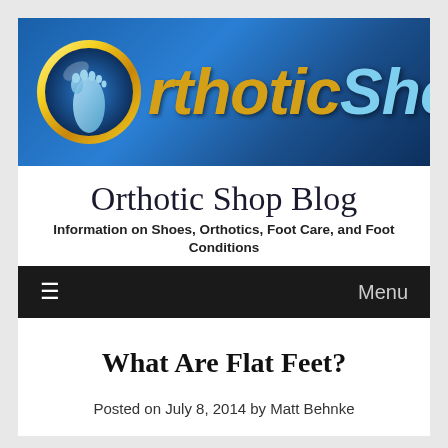[Figure (logo): Orthotic Shop logo banner: blue gradient background with gold circle containing a blue foot illustration, text 'Orthotic' in gold italic and 'Shop' in light blue italic]
Orthotic Shop Blog
Information on Shoes, Orthotics, Foot Care, and Foot Conditions
≡  Menu
What Are Flat Feet?
Posted on July 8, 2014 by Matt Behnke